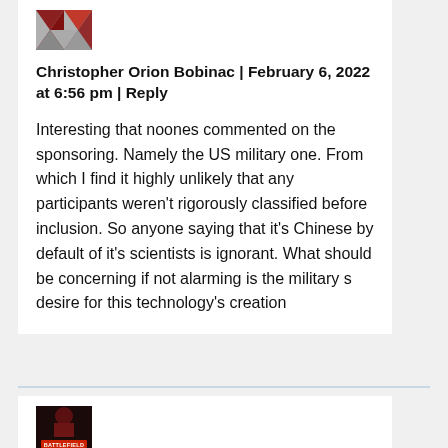[Figure (illustration): User avatar - abstract geometric pattern in red, grey and dark colors]
Christopher Orion Bobinac | February 6, 2022 at 6:56 pm | Reply
Interesting that noones commented on the sponsoring. Namely the US military one. From which I find it highly unlikely that any participants weren't rigorously classified before inclusion. So anyone saying that it's Chinese by default of it's scientists is ignorant. What should be concerning if not alarming is the military s desire for this technology's creation
[Figure (illustration): Battlefield game avatar/icon with dark red and black colors showing a soldier figure with BATTLEFIELD text]